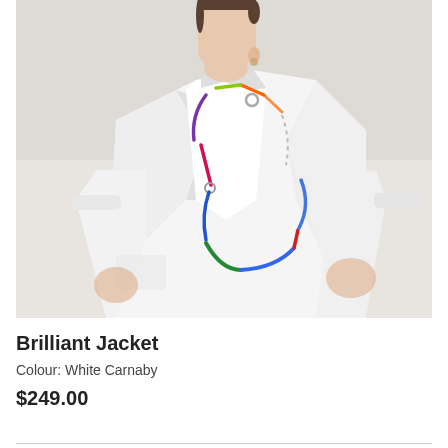[Figure (photo): A woman wearing a white oversized jacket (Brilliant Jacket in White Carnaby) with a colorful multi-segment chain necklace. She has dark hair pulled back, light skin, and stands against a light grey background. The jacket has a wide lapel and folded sleeves.]
Brilliant Jacket
Colour: White Carnaby
$249.00